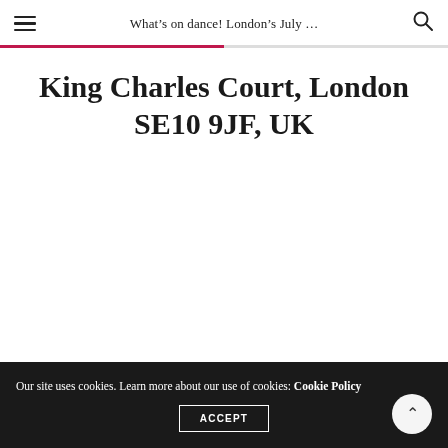What's on dance! London's July ...
King Charles Court, London SE10 9JF, UK
Our site uses cookies. Learn more about our use of cookies: Cookie Policy
ACCEPT